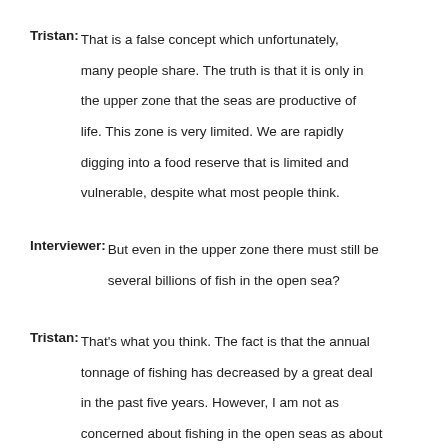Tristan: That is a false concept which unfortunately, many people share. The truth is that it is only in the upper zone that the seas are productive of life. This zone is very limited. We are rapidly digging into a food reserve that is limited and vulnerable, despite what most people think.
Interviewer: But even in the upper zone there must still be several billions of fish in the open sea?
Tristan: That's what you think. The fact is that the annual tonnage of fishing has decreased by a great deal in the past five years. However, I am not as concerned about fishing in the open seas as about fishing on the spawning grounds. Take, for